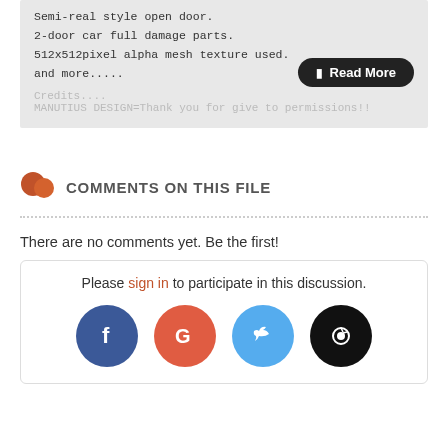Semi-real style open door.
2-door car full damage parts.
512x512pixel alpha mesh texture used.
and more.....
Read More
Credits....
MANUTIUS DESIGN=Thank you for give to permissions!!
COMMENTS ON THIS FILE
There are no comments yet. Be the first!
Please sign in to participate in this discussion.
[Figure (other): Social login icons: Facebook (blue circle with f), Google (red circle with G), Twitter (light blue circle with bird), Steam (black circle with steam logo)]